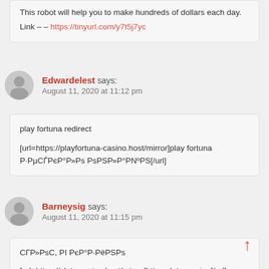This robot will help you to make hundreds of dollars each day. Link – – https://tinyurl.com/y7t5j7yc
Edwardelest says: August 11, 2020 at 11:12 pm
play fortuna redirect

[url=https://playfortuna-casino.host/mirror]play fortuna Р·РµСЃРєР°Р»Рs РsРSР»Р°РNºРS[/url]
Barneysig says: August 11, 2020 at 11:15 pm
СГР»РsС, РI РєР°Р·РёРSРs

[url=https://slotv-casino.host/mirror]https slot v casino[/url]